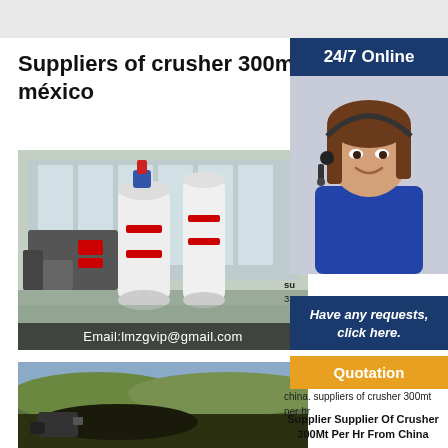Suppliers of crusher 300mt p… méxico
[Figure (photo): Industrial grinding/milling machinery in a large warehouse with tall windows, white cylindrical mills with red accents. Email watermark overlay: Email:lmzgvip@gmail.com]
[Figure (photo): Outdoor mining/quarry scene with heavy equipment and rocky terrain.]
[Figure (photo): Customer service agent wearing headset with '24/7 Online' blue banner header and 'Have any requests, click here.' text with orange Quotation button.]
china. suppliers of crusher 300mt per hr
Supplier Supplier Of Crusher 300Mt Per Hr From China
Suppliers of crusher 300mt per hr from